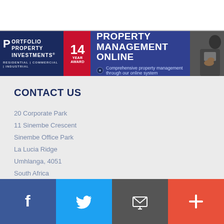[Figure (logo): Portfolio Property Investments banner advertisement for Property Management Online with logo, 14 years badge, and tagline]
CONTACT US
20 Corporate Park
11 Sinembe Crescent
Sinembe Office Park
La Lucia Ridge
Umhlanga, 4051
South Africa
Office: +27 31 566 4605
Fax: +27 31 566 4510
PPI GROUP
[Figure (infographic): Social media bar with Facebook, Twitter, Email, and Plus icons]